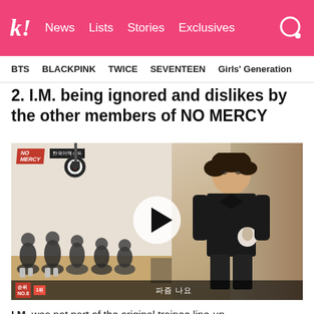k! News Lists Stories Exclusives
BTS  BLACKPINK  TWICE  SEVENTEEN  Girls' Generation
2. I.M. being ignored and dislikes by the other members of NO MERCY
[Figure (screenshot): Video thumbnail showing members of NO MERCY sitting on the left side and I.M. standing alone on the right side, with a play button overlay in the center. Korean text subtitle bar at the bottom with NO.8 badge and Korean text.]
I.M. was not part of the original trainee line-up